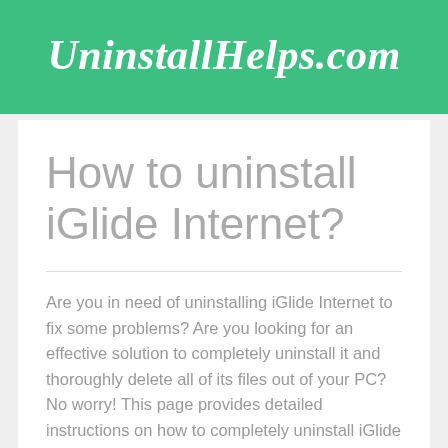UninstallHelps.com
How to uninstall iGlide Internet?
Are you in need of uninstalling iGlide Internet to fix some problems? Are you looking for an effective solution to completely uninstall it and thoroughly delete all of its files out of your PC? No worry! This page provides detailed instructions on how to completely uninstall iGlide Internet.